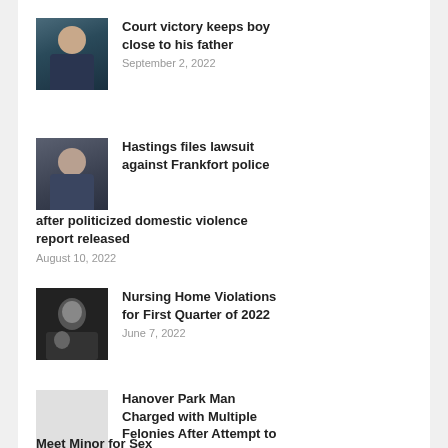[Figure (photo): Headshot of an older man with glasses wearing a suit and tie]
Court victory keeps boy close to his father
September 2, 2022
[Figure (photo): Man in suit at a podium or desk, indoor setting]
Hastings files lawsuit against Frankfort police after politicized domestic violence report released
August 10, 2022
[Figure (photo): Black and white photo of a woman and child]
Nursing Home Violations for First Quarter of 2022
June 7, 2022
Hanover Park Man Charged with Multiple Felonies After Attempt to Meet Minor for Sex